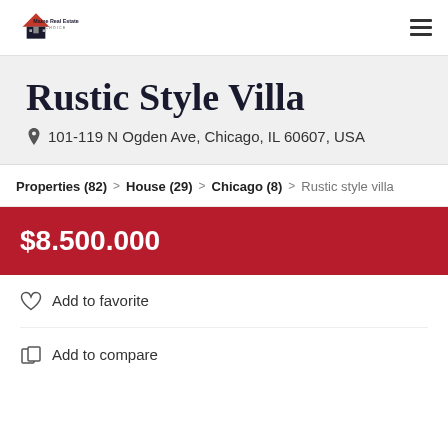Maine Real Estate Choice
Rustic Style Villa
101-119 N Ogden Ave, Chicago, IL 60607, USA
Properties (82) > House (29) > Chicago (8) > Rustic style villa
$8.500.000
Add to favorite
Add to compare